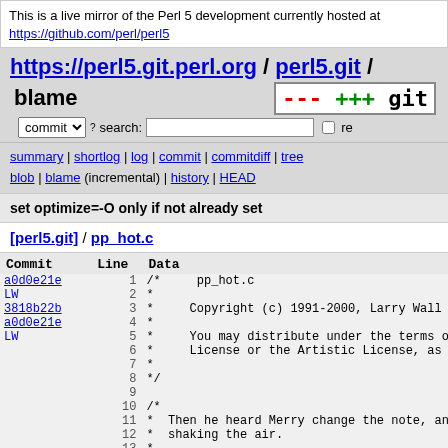This is a live mirror of the Perl 5 development currently hosted at https://github.com/perl/perl5
https://perl5.git.perl.org / perl5.git / blame
summary | shortlog | log | commit | commitdiff | tree blob | blame (incremental) | history | HEAD
set optimize=-O only if not already set
[perl5.git] / pp_hot.c
| Commit | Line | Data |
| --- | --- | --- |
| a0d0e21e | 1 | /*      pp_hot.c |
| LW | 2 | * |
| 3818b22b | 3 | *      Copyright (c) 1991-2000, Larry Wall |
| a0d0e21e | 4 | * |
| LW | 5 | *      You may distribute under the terms of |
|  | 6 | *      License or the Artistic License, as sp |
|  | 7 | * |
|  | 8 | */ |
|  | 9 |  |
|  | 10 | /* |
|  | 11 | *  Then he heard Merry change the note, and |
|  | 12 | *  shaking the air. |
|  | 13 | * |
|  | 14 | *          Awake!  Awake!  Fear, Fire, Fo |
|  | 15 | *              Fire, Foes!  Awake! |